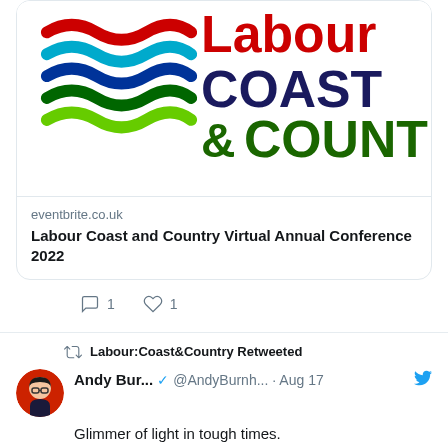[Figure (logo): Labour Coast & Country logo with wave graphic and text]
eventbrite.co.uk
Labour Coast and Country Virtual Annual Conference 2022
1   1
Labour:Coast&Country Retweeted
Andy Bur...  @AndyBurnh...  · Aug 17
Glimmer of light in tough times.

We're confirming today that our cap on bus fares will be in place for the start of the first full working week in September.
£2 max single fare for adults